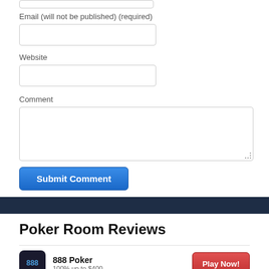[Figure (screenshot): Partial input field at top of page (cut off)]
Email (will not be published) (required)
[Figure (screenshot): Email text input field]
Website
[Figure (screenshot): Website text input field]
Comment
[Figure (screenshot): Comment textarea input]
[Figure (screenshot): Submit Comment button]
Poker Room Reviews
888 Poker
100% up to $400